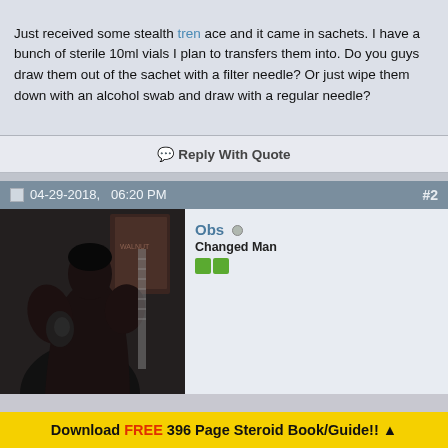Just received some stealth tren ace and it came in sachets. I have a bunch of sterile 10ml vials I plan to transfers them into. Do you guys draw them out of the sachet with a filter needle? Or just wipe them down with an alcohol swab and draw with a regular needle?
Reply With Quote
04-29-2018,   06:20 PM  #2
[Figure (photo): Dark photo of a muscular shirtless person flexing in a mirror, with posters visible in the background]
Obs
Changed Man
Download FREE 396 Page Steroid Book/Guide!! ▲